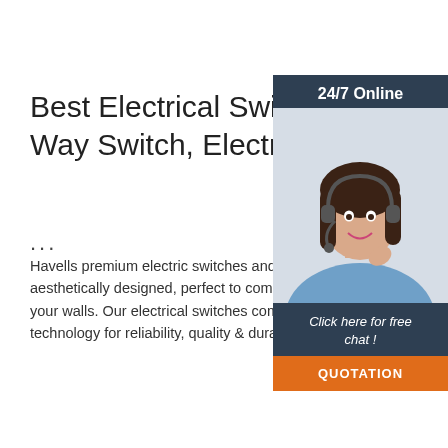Best Electrical Switches, Way Switch, Electric Swi…
...
Havells premium electric switches and bo… aesthetically designed, perfect to complen… your walls. Our electrical switches come w… technology for reliability, quality & durabilit…
[Figure (photo): Customer service representative woman with headset, 24/7 Online chat widget with QUOTATION button on dark blue background]
Get Price